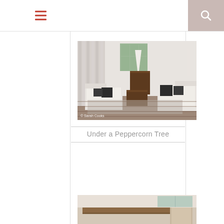[Figure (screenshot): Website navigation bar with hamburger menu icon (red three lines) on the left and a search icon (magnifying glass) on right with pinkish-beige background]
[Figure (photo): Interior living room photo showing white sofas with dark cushions, wooden coffee table, wooden side table with a lamp, and light curtains. Watermark reads '© Sarah Cooks']
Under a Peppercorn Tree
[Figure (photo): Partial view of a second interior photo showing what appears to be a kitchen or dining area with wooden furniture]